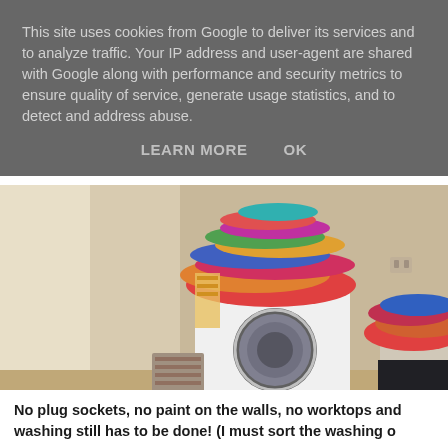This site uses cookies from Google to deliver its services and to analyze traffic. Your IP address and user-agent are shared with Google along with performance and security metrics to ensure quality of service, generate usage statistics, and to detect and address abuse.
LEARN MORE    OK
[Figure (photo): A cluttered room showing a white washing machine with a large pile of colorful clothes stacked on top of it, and more clothes piled on what appears to be a laundry basket or container to the right. The room has bare beige/cream walls and a patterned mat on the floor.]
No plug sockets, no paint on the walls, no worktops and washing still has to be done! (I must sort the washing o...